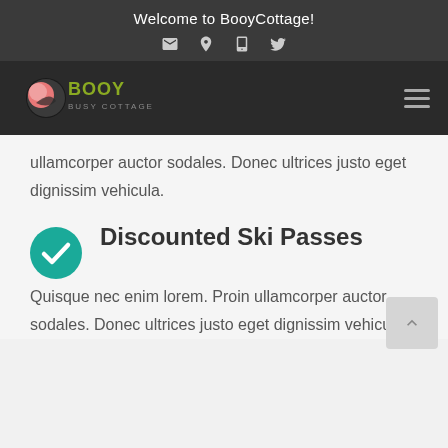Welcome to BooyCottage!
[Figure (logo): BooyCottage logo with pink sphere and olive/yellow BOOY text on dark background]
ullamcorper auctor sodales. Donec ultrices justo eget dignissim vehicula.
Discounted Ski Passes
Quisque nec enim lorem. Proin ullamcorper auctor sodales. Donec ultrices justo eget dignissim vehicula.